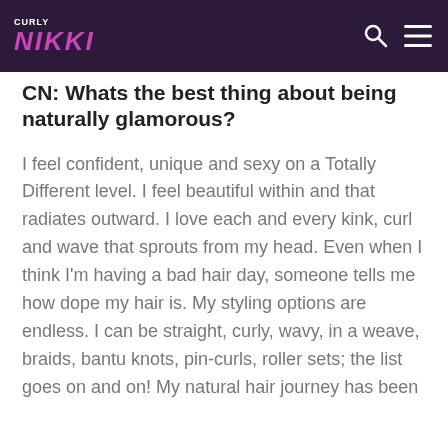CURLY NIKKI
CN: Whats the best thing about being naturally glamorous?
I feel confident, unique and sexy on a Totally Different level. I feel beautiful within and that radiates outward. I love each and every kink, curl and wave that sprouts from my head. Even when I think I'm having a bad hair day, someone tells me how dope my hair is. My styling options are endless. I can be straight, curly, wavy, in a weave, braids, bantu knots, pin-curls, roller sets; the list goes on and on! My natural hair journey has been